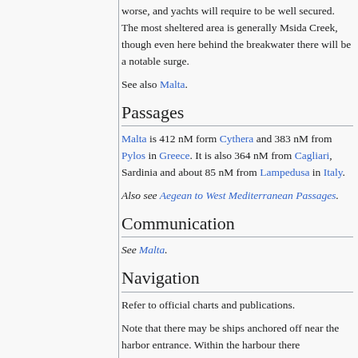worse, and yachts will require to be well secured. The most sheltered area is generally Msida Creek, though even here behind the breakwater there will be a notable surge.
See also Malta.
Passages
Malta is 412 nM form Cythera and 383 nM from Pylos in Greece. It is also 364 nM from Cagliari, Sardinia and about 85 nM from Lampedusa in Italy.
Also see Aegean to West Mediterranean Passages.
Communication
See Malta.
Navigation
Refer to official charts and publications.
Note that there may be ships anchored off near the harbor entrance. Within the harbour there...